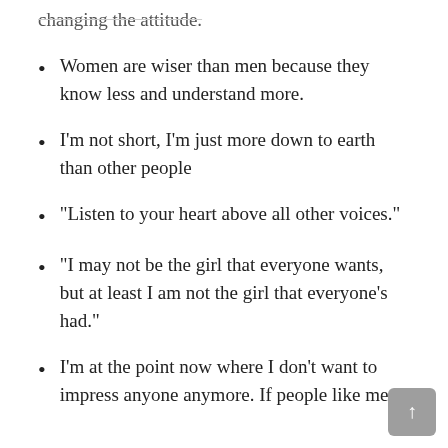changing the attitude.
Women are wiser than men because they know less and understand more.
I'm not short, I'm just more down to earth than other people
“Listen to your heart above all other voices.”
“I may not be the girl that everyone wants, but at least I am not the girl that everyone’s had.”
I’m at the point now where I don’t want to impress anyone anymore. If people like me